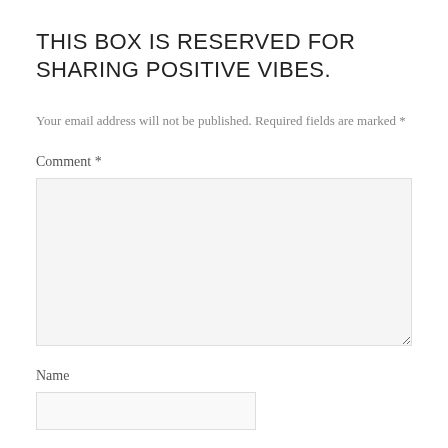THIS BOX IS RESERVED FOR SHARING POSITIVE VIBES.
Your email address will not be published. Required fields are marked *
Comment *
Name